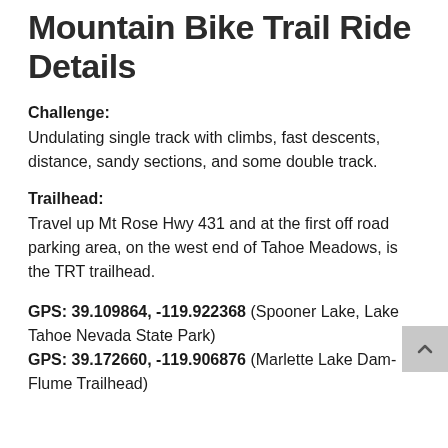Mountain Bike Trail Ride Details
Challenge:
Undulating single track with climbs, fast descents, distance, sandy sections, and some double track.
Trailhead:
Travel up Mt Rose Hwy 431 and at the first off road parking area, on the west end of Tahoe Meadows, is the TRT trailhead.
GPS: 39.109864, -119.922368 (Spooner Lake, Lake Tahoe Nevada State Park)
GPS: 39.172660, -119.906876 (Marlette Lake Dam-Flume Trailhead)